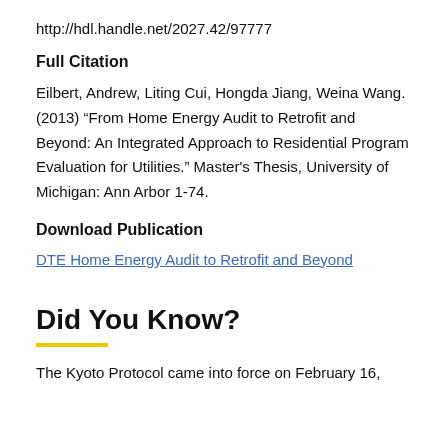http://hdl.handle.net/2027.42/97777
Full Citation
Eilbert, Andrew, Liting Cui, Hongda Jiang, Weina Wang. (2013) “From Home Energy Audit to Retrofit and Beyond: An Integrated Approach to Residential Program Evaluation for Utilities.” Master's Thesis, University of Michigan: Ann Arbor 1-74.
Download Publication
DTE Home Energy Audit to Retrofit and Beyond
Did You Know?
The Kyoto Protocol came into force on February 16,